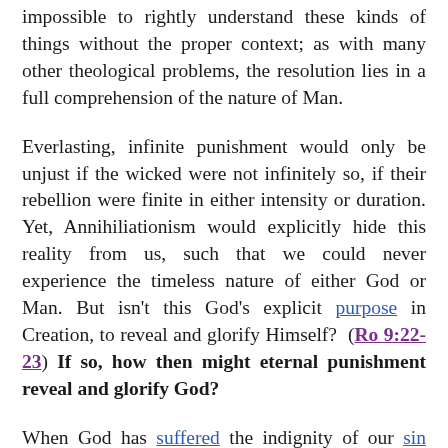impossible to rightly understand these kinds of things without the proper context; as with many other theological problems, the resolution lies in a full comprehension of the nature of Man.
Everlasting, infinite punishment would only be unjust if the wicked were not infinitely so, if their rebellion were finite in either intensity or duration. Yet, Annihiliationism would explicitly hide this reality from us, such that we could never experience the timeless nature of either God or Man. But isn't this God's explicit purpose in Creation, to reveal and glorify Himself? (Ro 9:22-23) If so, how then might eternal punishment reveal and glorify God?
When God has suffered the indignity of our sin long enough, suppose all He does is simply unveil Himself (Is 25:7), showing us all Who He is and what He is like, unfiltered, exactly as He is. (Re